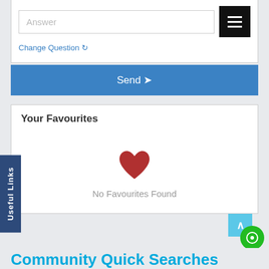Answer
Change Question ↻
Send ➤
Your Favourites
[Figure (illustration): Red heart icon indicating no favourites found]
No Favourites Found
Useful Links
Community Quick Searches